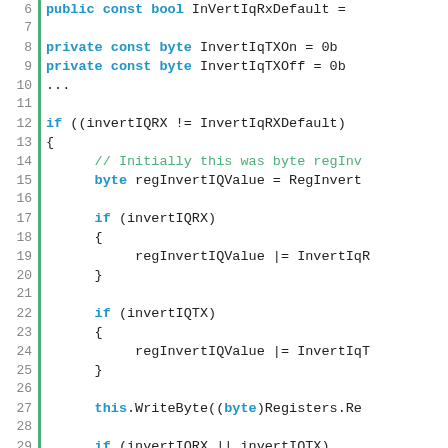Code listing showing C# source code with line numbers 6-31, featuring IQ inversion logic with keywords, types, comments, and method calls.